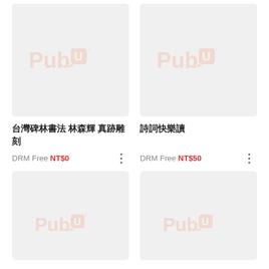[Figure (illustration): PubU watermark placeholder cover for 台灣碑林書法 林森輝 真跡雕刻]
[Figure (illustration): PubU watermark placeholder cover for 詩詞快樂讀]
台灣碑林書法 林森輝 真跡雕刻
詩詞快樂讀
DRM Free NT$0
DRM Free NT$50
[Figure (illustration): PubU watermark placeholder cover (bottom left)]
[Figure (illustration): PubU watermark placeholder cover (bottom right)]